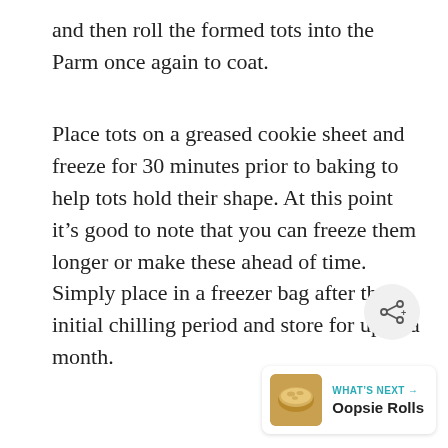and then roll the formed tots into the Parm once again to coat.
Place tots on a greased cookie sheet and freeze for 30 minutes prior to baking to help tots hold their shape. At this point it’s good to note that you can freeze them longer or make these ahead of time. Simply place in a freezer bag after the initial chilling period and store for up to a month.
[Figure (other): Share button icon (circular grey button with share/add symbol)]
[Figure (other): What's Next card showing a food item thumbnail (baked roll) with label 'WHAT'S NEXT' and title 'Oopsie Rolls']